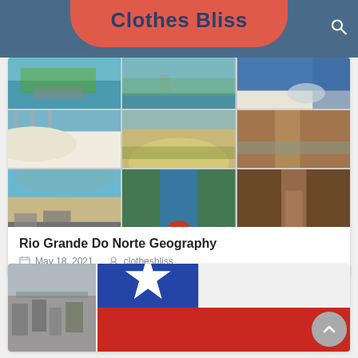Clothes Bliss
[Figure (photo): Collage of 9 geographic photos of Rio Grande do Norte showing coastlines, dunes, rivers, and canyons in a 3x3 grid]
Rio Grande Do Norte Geography
May 18, 2021   clothesbliss
[Figure (photo): Two photos side by side: left showing a city/urban aerial view, right showing the Chilean flag with blue, white star, and red portions visible]